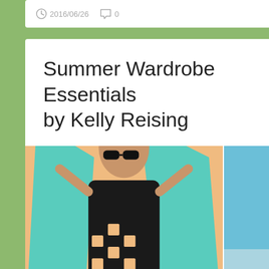2016/06/26   0
Summer Wardrobe Essentials
by Kelly Reising
[Figure (photo): Fashion collage with four images: top-left shows a woman in a black cutout swimsuit with a teal cover-up against a peach background; top-right shows a woman in a black and white striped maxi dress on a beach; bottom-left shows a white woven sun hat; bottom-right shows a blonde woman wearing large cat-eye sunglasses.]